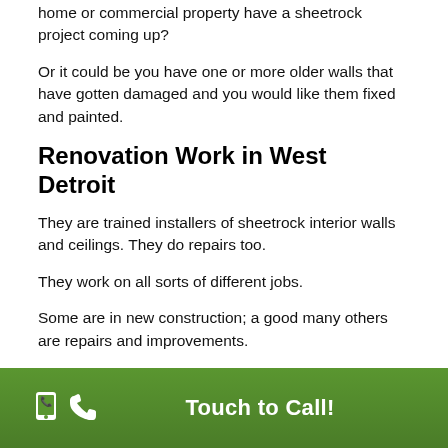home or commercial property have a sheetrock project coming up?
Or it could be you have one or more older walls that have gotten damaged and you would like them fixed and painted.
Renovation Work in West Detroit
They are trained installers of sheetrock interior walls and ceilings. They do repairs too.
They work on all sorts of different jobs.
Some are in new construction; a good many others are repairs and improvements.
They undertake all sorts of maintenance jobs.
While some jobs are significant replacements of water-damaged sheetrock, others call for only a sheetrock
Touch to Call!